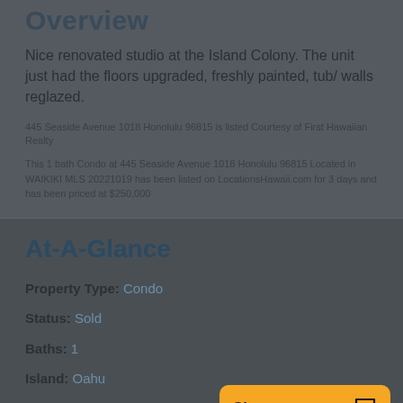Overview
Nice renovated studio at the Island Colony. The unit just had the floors upgraded, freshly painted, tub/ walls reglazed.
445 Seaside Avenue 1018 Honolulu 96815 is listed Courtesy of First Hawaiian Realty
This 1 bath Condo at 445 Seaside Avenue 1018 Honolulu 96815 Located in WAIKIKI MLS 20221019 has been listed on LocationsHawaii.com for 3 days and has been priced at $250,000
At-A-Glance
Property Type: Condo
Status: Sold
Baths: 1
Island: Oahu
Region: Metro Honolulu